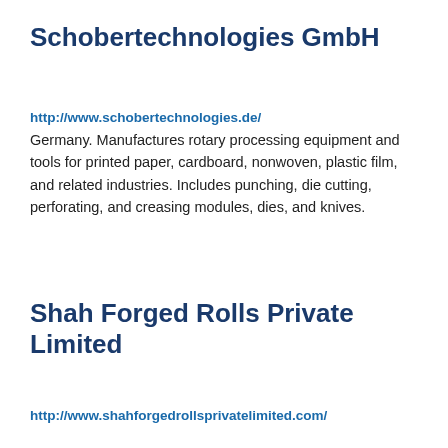Schobertechnologies GmbH
http://www.schobertechnologies.de/
Germany. Manufactures rotary processing equipment and tools for printed paper, cardboard, nonwoven, plastic film, and related industries. Includes punching, die cutting, perforating, and creasing modules, dies, and knives.
Shah Forged Rolls Private Limited
http://www.shahforgedrollsprivatelimited.com/